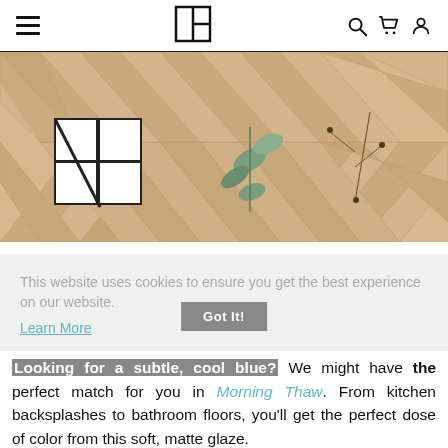Navigation header with hamburger menu, logo, search, cart, and account icons
[Figure (photo): Close-up photo of light wood chevron/herringbone flooring with white rectangular tiles and dried plant/leaf decorations]
This website uses cookies to ensure you get the best experience on our website. Learn More
Got It!
Looking for a subtle, cool blue? We might have the perfect match for you in Morning Thaw. From kitchen backsplashes to bathroom floors, you'll get the perfect dose of color from this soft, matte glaze.